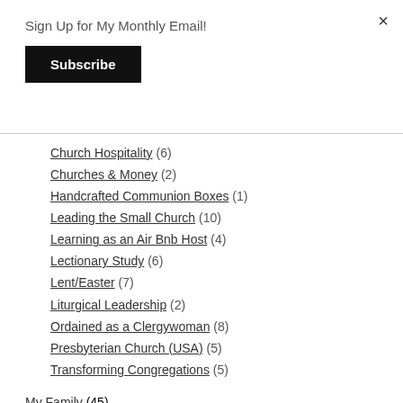×
Sign Up for My Monthly Email!
Subscribe
Church Hospitality (6)
Churches & Money (2)
Handcrafted Communion Boxes (1)
Leading the Small Church (10)
Learning as an Air Bnb Host (4)
Lectionary Study (6)
Lent/Easter (7)
Liturgical Leadership (2)
Ordained as a Clergywoman (8)
Presbyterian Church (USA) (5)
Transforming Congregations (5)
My Family (45)
My Dad, Nicholas J. Huizenga (13)